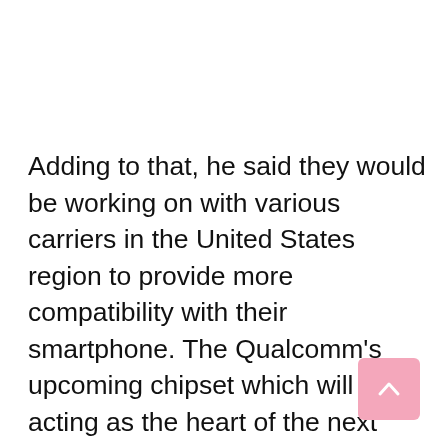Adding to that, he said they would be working on with various carriers in the United States region to provide more compatibility with their smartphone. The Qualcomm’s upcoming chipset which will be acting as the heart of the next generation smartphone. The reason for OnePlus to be working on 5G compatibility.
[Figure (other): Pink rounded square button with an upward-pointing chevron arrow (scroll-to-top button)]